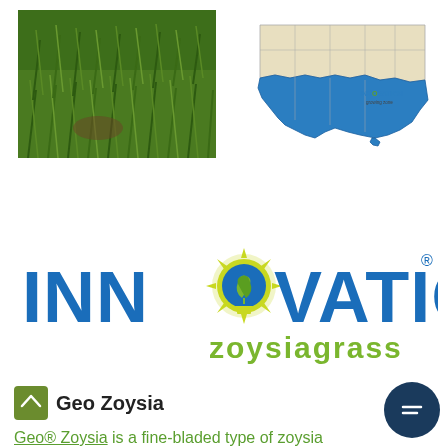[Figure (photo): Close-up photo of green zoysiagrass turf]
[Figure (map): Map of the United States showing Innovation Zoysiagrass growing zone highlighted in blue in the southern/southeastern region]
[Figure (logo): INNOVATION zoysiagrass logo — bold blue letters with a green lightbulb icon replacing one O, and 'zoysiagrass' in green below]
Geo Zoysia
Geo® Zoysia is a fine-bladed type of zoysia